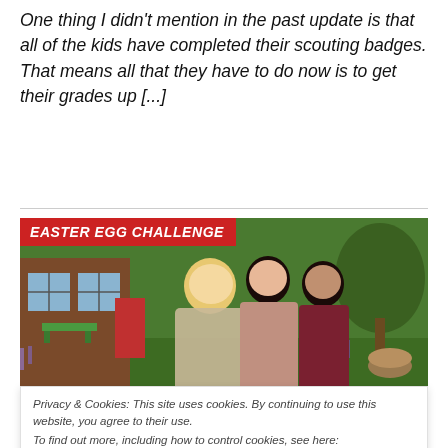One thing I didn't mention in the past update is that all of the kids have completed their scouting badges. That means all that they have to do now is to get their grades up [...]
[Figure (screenshot): Screenshot from The Sims 4 game showing three Sims characters (a blonde male, a dark-haired female, and a dark-haired male) standing outside near a house and park setting. A red banner reading 'EASTER EGG CHALLENGE' overlays the top-left of the image.]
Privacy & Cookies: This site uses cookies. By continuing to use this website, you agree to their use.
To find out more, including how to control cookies, see here:
Cookie Policy
Close and accept
The family has a busy week ahead with several